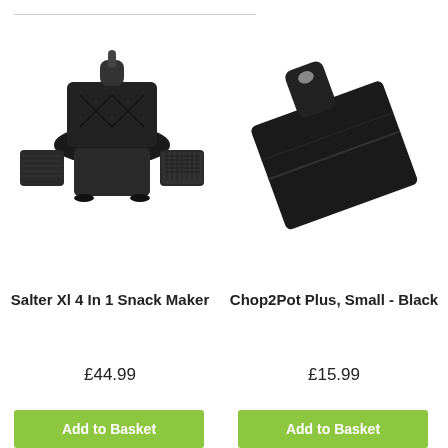[Figure (photo): Salter XL 4 In 1 Snack Maker product photo - black sandwich/waffle/grill maker with interchangeable plates spread out]
Salter Xl 4 In 1 Snack Maker
£44.99
Add to Basket
[Figure (photo): Chop2Pot Plus Small Black product photo - a folding black chopping board shown at an angle]
Chop2Pot Plus, Small - Black
£15.99
Add to Basket